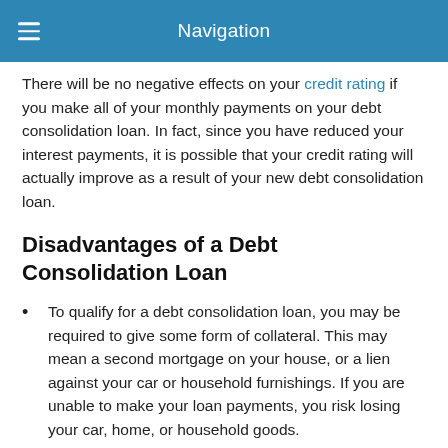Navigation
There will be no negative effects on your credit rating if you make all of your monthly payments on your debt consolidation loan. In fact, since you have reduced your interest payments, it is possible that your credit rating will actually improve as a result of your new debt consolidation loan.
Disadvantages of a Debt Consolidation Loan
To qualify for a debt consolidation loan, you may be required to give some form of collateral. This may mean a second mortgage on your house, or a lien against your car or household furnishings. If you are unable to make your loan payments, you risk losing your car, home, or household goods.
Even though you could potentially save with a reduced interest rate, combining of your old debts into one debt consolidation loan will still leave you with a large monthly